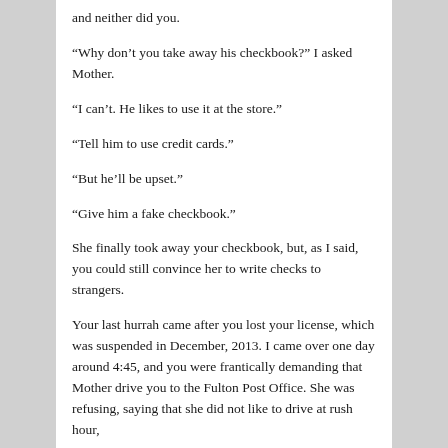and neither did you.
“Why don’t you take away his checkbook?” I asked Mother.
“I can’t. He likes to use it at the store.”
“Tell him to use credit cards.”
“But he’ll be upset.”
“Give him a fake checkbook.”
She finally took away your checkbook, but, as I said, you could still convince her to write checks to strangers.
Your last hurrah came after you lost your license, which was suspended in December, 2013. I came over one day around 4:45, and you were frantically demanding that Mother drive you to the Fulton Post Office. She was refusing, saying that she did not like to drive at rush hour,